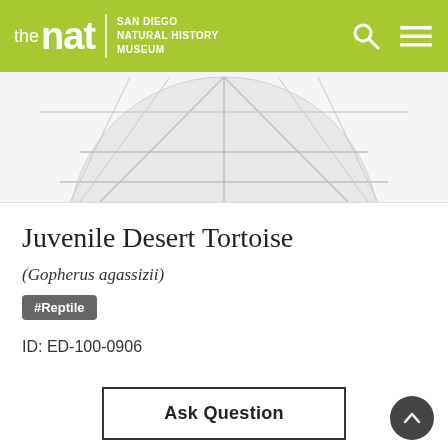the nat | SAN DIEGO NATURAL HISTORY MUSEUM
[Figure (illustration): Partial circular illustration of a desert tortoise shell pattern, light gray on white background, top portion of circular graphic]
Juvenile Desert Tortoise
(Gopherus agassizii)
#Reptile
ID: ED-100-0906
Ask Question